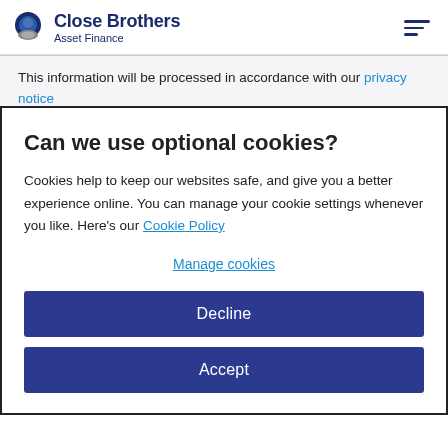Close Brothers Asset Finance
This information will be processed in accordance with our privacy notice
Can we use optional cookies?
Cookies help to keep our websites safe, and give you a better experience online. You can manage your cookie settings whenever you like. Here's our Cookie Policy
Manage cookies
Decline
Accept